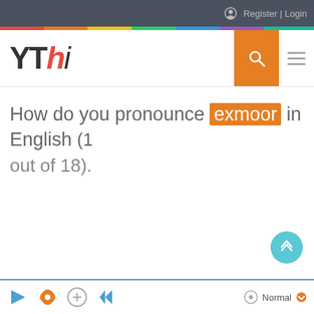Register | Login
[Figure (logo): YThi website logo with YT in black, h in red italic, i in black italic]
How do you pronounce exmoor in English (1 out of 18).
Normal (bottom control bar with audio controls)